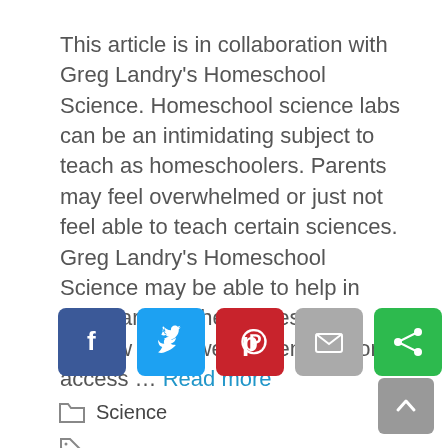This article is in collaboration with Greg Landry's Homeschool Science. Homeschool science labs can be an intimidating subject to teach as homeschoolers. Parents may feel overwhelmed or just not feel able to teach certain sciences. Greg Landry's Homeschool Science may be able to help in these areas. The Homeschool Review Crew were given 12-month access … Read more
[Figure (infographic): Social share buttons: Facebook (blue), Twitter (light blue), Pinterest (red), Email (gray), Share (green), LinkedIn (dark blue)]
Science
College Prep, Greg Landry, science, science labs